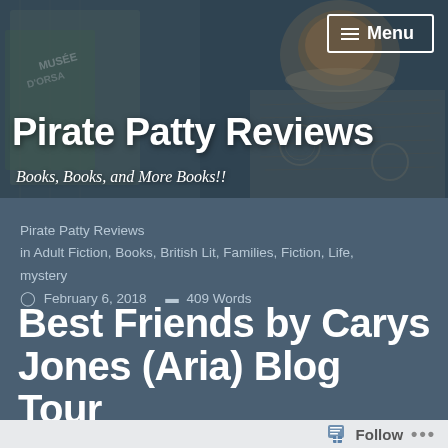[Figure (screenshot): Hero banner with blurred collage of books, tea cup, and handwritten text. Shows Musée d'Orsay book in foreground.]
Pirate Patty Reviews
Books, Books, and More Books!!
Menu
Pirate Patty Reviews
in Adult Fiction, Books, British Lit, Families, Fiction, Life, mystery
© February 6, 2018    ≡ 409 Words
Best Friends by Carys Jones (Aria) Blog Tour
Follow  ...